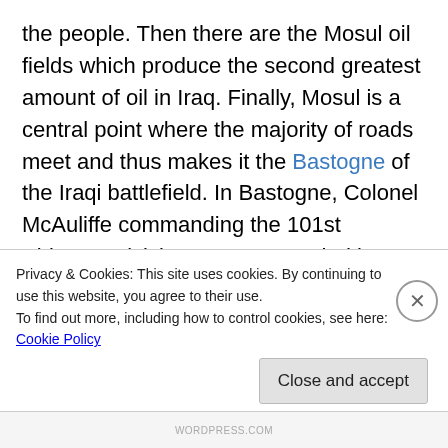the people. Then there are the Mosul oil fields which produce the second greatest amount of oil in Iraq. Finally, Mosul is a central point where the majority of roads meet and thus makes it the Bastogne of the Iraqi battlefield. In Bastogne, Colonel McAuliffe commanding the 101st Airborne Division was surrounded by German armor who pounded the city for twenty-four hours plus. When offered to surrender and save his troops, the Colonel answered "Nuts!" Nuts is what the United States and the Kurds are if they permit Iran and Iraq to retain control over the Mosul area. This was a Kurdish area which Iraqi dictator Saddam
Privacy & Cookies: This site uses cookies. By continuing to use this website, you agree to their use.
To find out more, including how to control cookies, see here: Cookie Policy
Close and accept